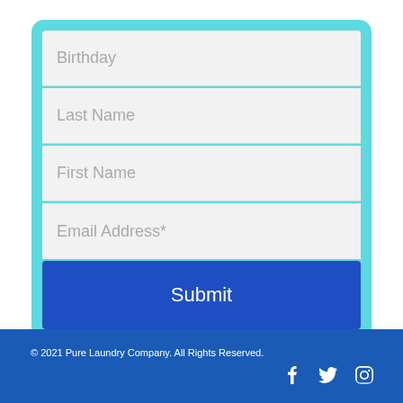[Figure (screenshot): Web form with cyan card background containing four input fields (Birthday, Last Name, First Name, Email Address*) and a Submit button]
© 2021 Pure Laundry Company. All Rights Reserved.